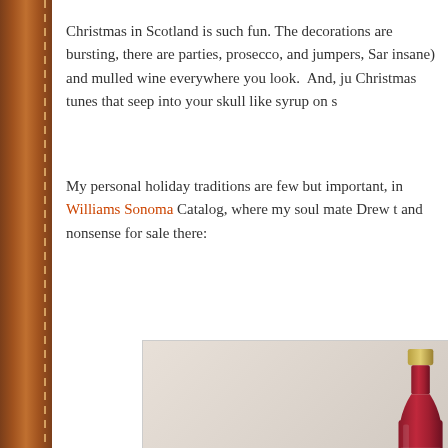Christmas in Scotland is such fun. The decorations are bursting, there are parties, prosecco, and jumpers, San insane) and mulled wine everywhere you look.  And, ju Christmas tunes that seep into your skull like syrup on s
My personal holiday traditions are few but important, in Williams Sonoma Catalog, where my soul mate Drew t and nonsense for sale there:
[Figure (photo): Product image from Williams Sonoma catalog showing a bottle of Trisha Yearwood Christmas in a Cup drink mix. Text reads: TRISHA YEARWOOD CHRISTMAS IN A CUP, NEW & EXCLUSIVE Vibrant mix of cranberry, pomegranate and citrus. 25.4 fl. oz. #36-5200261 $16.95]